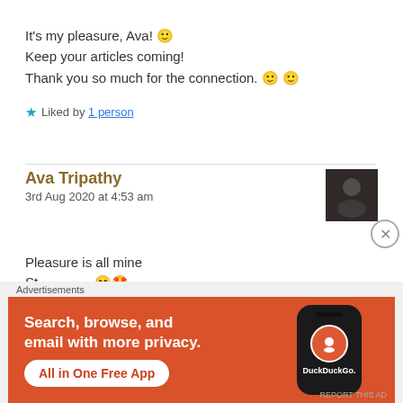It's my pleasure, Ava! 🙂
Keep your articles coming!
Thank you so much for the connection. 🙂 🙂
★ Liked by 1 person
Ava Tripathy
3rd Aug 2020 at 4:53 am
Pleasure is all mine
[Figure (screenshot): DuckDuckGo advertisement banner with text 'Search, browse, and email with more privacy. All in One Free App' on orange background with phone graphic]
Advertisements